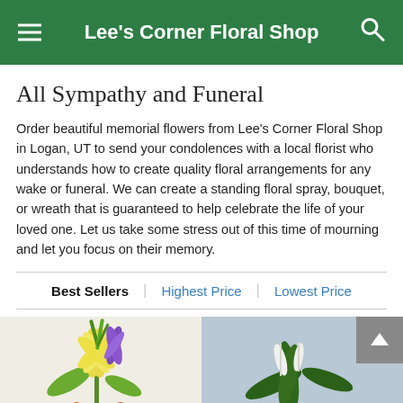Lee's Corner Floral Shop
All Sympathy and Funeral
Order beautiful memorial flowers from Lee's Corner Floral Shop in Logan, UT to send your condolences with a local florist who understands how to create quality floral arrangements for any wake or funeral. We can create a standing floral spray, bouquet, or wreath that is guaranteed to help celebrate the life of your loved one. Let us take some stress out of this time of mourning and let you focus on their memory.
Best Sellers | Highest Price | Lowest Price
[Figure (photo): Floral arrangement with yellow lilies and purple iris on light background]
[Figure (photo): Peace lily plant with white flowers on grey background, with scroll-to-top button overlay]